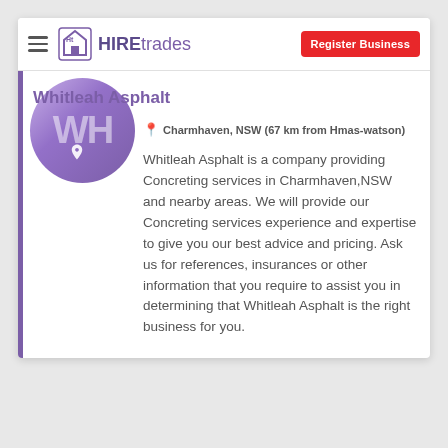HIREtrades | Register Business
Whitleah Asphalt
Charmhaven, NSW (67 km from Hmas-watson)
Whitleah Asphalt is a company providing Concreting services in Charmhaven,NSW and nearby areas. We will provide our Concreting services experience and expertise to give you our best advice and pricing. Ask us for references, insurances or other information that you require to assist you in determining that Whitleah Asphalt is the right business for you.